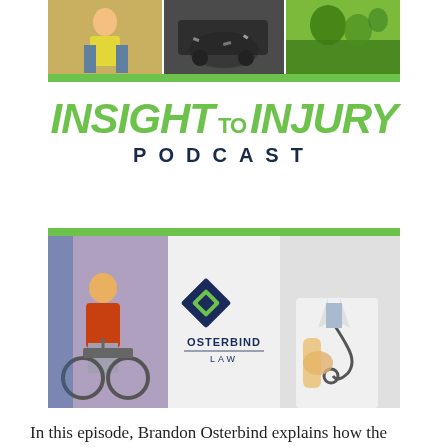[Figure (photo): Top banner with three photos: a worker in a yellow vest, a car crash scene, and a golf course or green landscape. A green bar runs along the bottom of the strip.]
INSIGHT TO INJURY PODCAST
[Figure (photo): Bottom banner with three panels: left shows a person in a wheelchair being assisted, center shows the Osterbind Law logo, right shows a doctor in a white coat. A green bar runs along the top of the strip.]
In this episode, Brandon Osterbind explains how the court system in Virginia is set up and where certain cases start and end. The Virginia Court system is somewhat nuanced and complicated